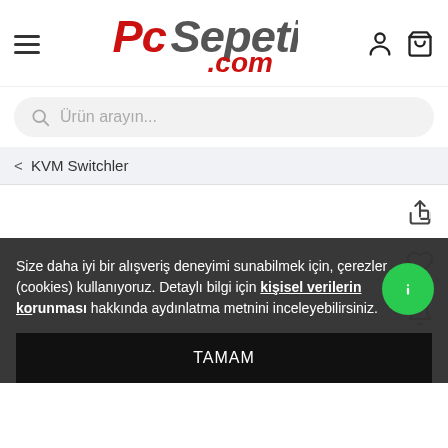[Figure (logo): PcSepeti.com logo with hamburger menu, user icon, and cart icon in the header]
Ürün arayın...
< KVM Switchler
Size daha iyi bir alışveriş deneyimi sunabilmek için, çerezler (cookies) kullanıyoruz. Detaylı bilgi için kişisel verilerin korunması hakkında aydınlatma metnini inceleyebilirsiniz.
TAMAM